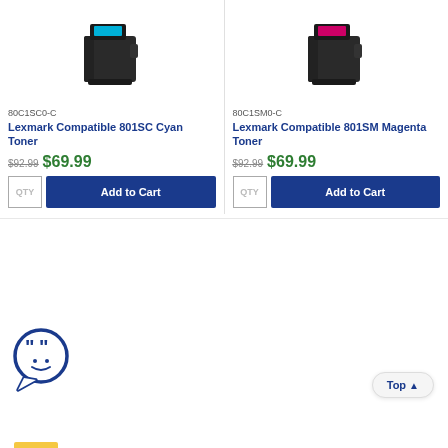[Figure (photo): Lexmark compatible 801SC cyan toner cartridge product image (black cartridge with cyan label on top)]
80C1SC0-C
Lexmark Compatible 801SC Cyan Toner
$92.99  $69.99
[Figure (photo): Lexmark compatible 801SM magenta toner cartridge product image (black cartridge with magenta label on top)]
80C1SM0-C
Lexmark Compatible 801SM Magenta Toner
$92.99  $69.99
[Figure (illustration): Chat/support icon — speech bubble with quotation marks and smiley face]
Top ▲